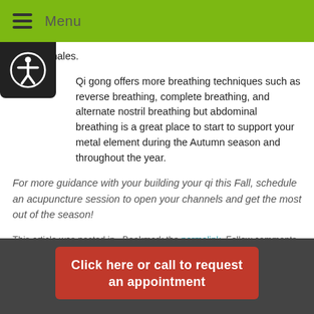Menu
and 9 exhales.
Qi gong offers more breathing techniques such as reverse breathing, complete breathing, and alternate nostril breathing but abdominal breathing is a great place to start to support your metal element during the Autumn season and throughout the year.
For more guidance with your building your qi this Fall, schedule an acupuncture session to open your channels and get the most out of the season!
This article was posted in . Bookmark the permalink. Follow comments with the RSS feed for this post. Both comments and trackbacks are closed.
[Figure (other): Red button: Click here or call to request an appointment]
9412284688